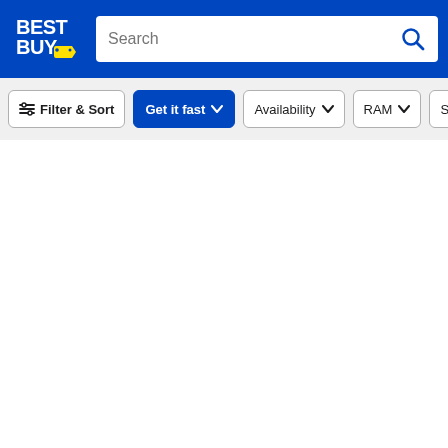[Figure (screenshot): Best Buy website header with logo, search bar, and filter/sort navigation buttons including Filter & Sort, Get it fast, Availability, RAM, and Screen Size options.]
BEST BUY
Search
Filter & Sort | Get it fast | Availability | RAM | Screen Si...